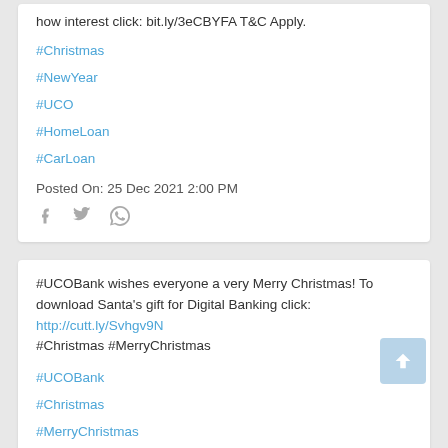how interest click: bit.ly/3eCBYFA T&C Apply.
#Christmas
#NewYear
#UCO
#HomeLoan
#CarLoan
Posted On: 25 Dec 2021 2:00 PM
#UCOBank wishes everyone a very Merry Christmas! To download Santa's gift for Digital Banking click: http://cutt.ly/Svhgv9N #Christmas #MerryChristmas
#UCOBank
#Christmas
#MerryChristmas